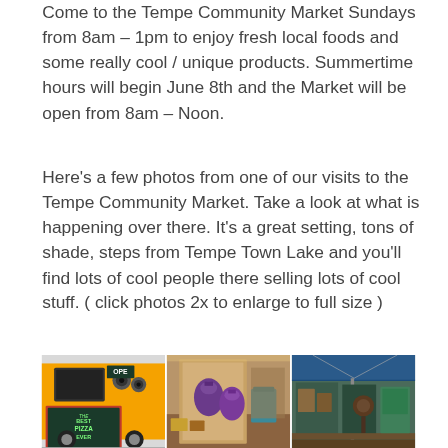Come to the Tempe Community Market Sundays from 8am – 1pm to enjoy fresh local foods and some really cool / unique products. Summertime hours will begin June 8th and the Market will be open from 8am – Noon.
Here's a few photos from one of our visits to the Tempe Community Market. Take a look at what is happening over there. It's a great setting, tons of shade, steps from Tempe Town Lake and you'll find lots of cool people there selling lots of cool stuff. ( click photos 2x to enlarge to full size )
[Figure (photo): Three photos from Tempe Community Market: a yellow food truck with chalkboard sign reading 'THE BEST PIZZA EVER', a market display table with purple bags and products, and a market vendor booth with decorative items under a blue tent.]